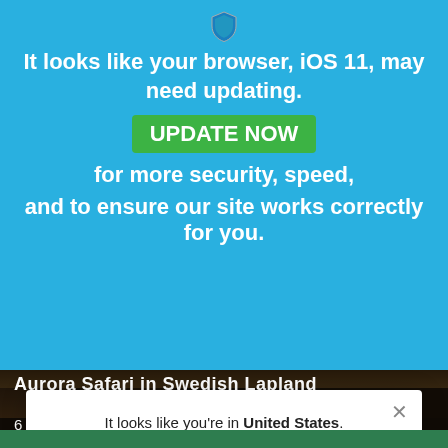[Figure (screenshot): Blue browser update banner with shield icon, 'UPDATE NOW' green button, text about iOS 11 browser update. Below: dark photo strip showing 'Aurora Safari in Swedish Lapland' tour description. White modal popup with 'United States' location redirect message and 'Switch to United States' blue button.]